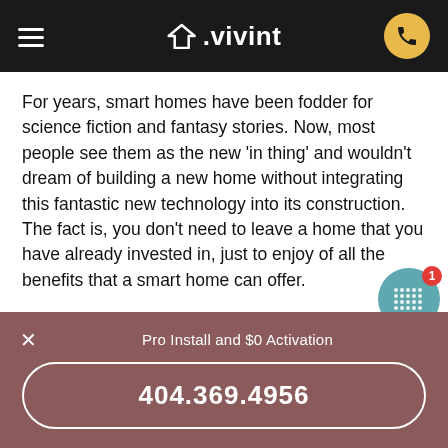Vivint - smart home security
For years, smart homes have been fodder for science fiction and fantasy stories. Now, most people see them as the new 'in thing' and wouldn't dream of building a new home without integrating this fantastic new technology into its construction. The fact is, you don't need to leave a home that you have already invested in, just to enjoy of all the benefits that a smart home can offer.
We provide a one-on-one consultation to customize a system to fit your needs.
Installation, setup, and integration of all your
Pro Install and $0 Activation
404.369.4956